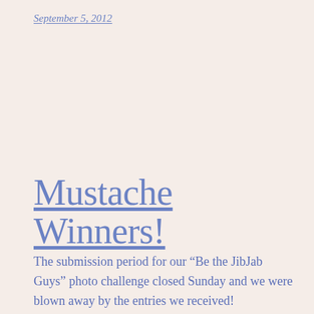September 5, 2012
Mustache Winners!
The submission period for our “Be the JibJab Guys” photo challenge closed Sunday and we were blown away by the entries we received!